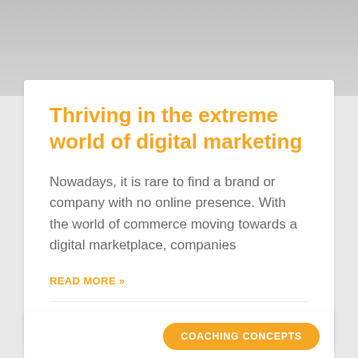Thriving in the extreme world of digital marketing
Nowadays, it is rare to find a brand or company with no online presence. With the world of commerce moving towards a digital marketplace, companies
READ MORE »
15 January 2018  |  No Comments
COACHING CONCEPTS